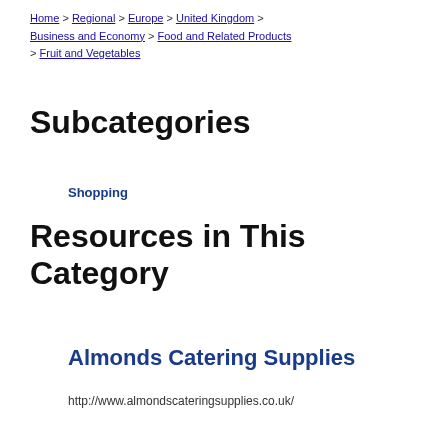Home > Regional > Europe > United Kingdom > Business and Economy > Food and Related Products > Fruit and Vegetables
Subcategories
Shopping
Resources in This Category
Almonds Catering Supplies
http://www.almondscateringsupplies.co.uk/